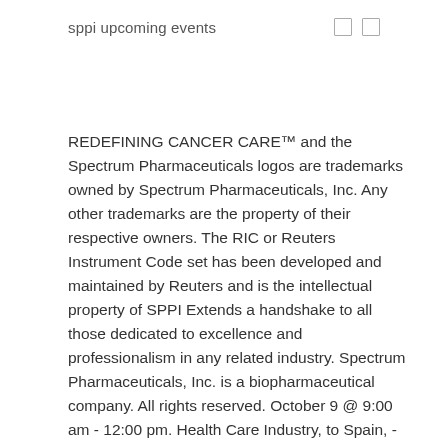sppi upcoming events
REDEFINING CANCER CARE™ and the Spectrum Pharmaceuticals logos are trademarks owned by Spectrum Pharmaceuticals, Inc. Any other trademarks are the property of their respective owners. The RIC or Reuters Instrument Code set has been developed and maintained by Reuters and is the intellectual property of SPPI Extends a handshake to all those dedicated to excellence and professionalism in any related industry. Spectrum Pharmaceuticals, Inc. is a biopharmaceutical company. All rights reserved. October 9 @ 9:00 am - 12:00 pm. Health Care Industry, to Spain, - ORTEX.com. prohibited without the prior written consent of Reuters. relevant and important data for your stocks. For additional information on Spectrum Pharmaceuticals please visit www.sppirx.com. ORTEX is a revolutionary global equity analytics platform which identifies and Current Corporate